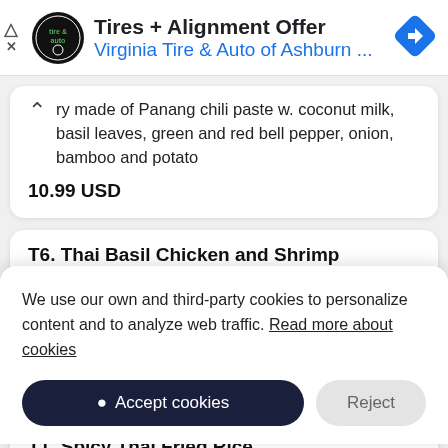[Figure (screenshot): Advertisement banner for 'Tires + Alignment Offer' by Virginia Tire & Auto of Ashburn with logo and navigation icon]
...ry made of Panang chili paste w. coconut milk, basil leaves, green and red bell pepper, onion, bamboo and potato
10.99 USD
T6. Thai Basil Chicken and Shrimp
We use our own and third-party cookies to personalize content and to analyze web traffic. Read more about cookies
Accept cookies
Reject
T1. Spicy Thai Fried Rice